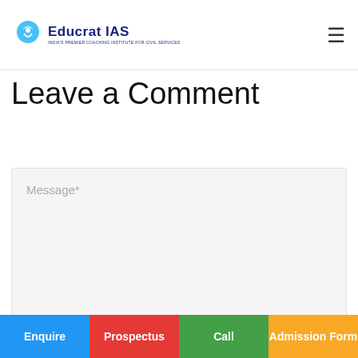Educrat IAS
Leave a Comment
Message*
Name*
Save
Enquire | Prospectus | Call | Admission Form